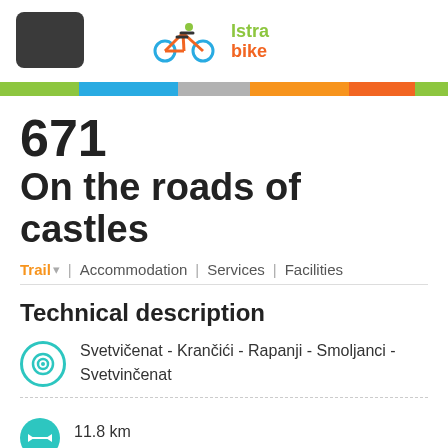[Figure (logo): Dark square logo placeholder on left, cyclist icon and Istra Bike logo in center]
671
On the roads of castles
Trail | Accommodation | Services | Facilities
Technical description
Svetvičenat - Krančići - Rapanji - Smoljanci - Svetvinčenat
11.8 km